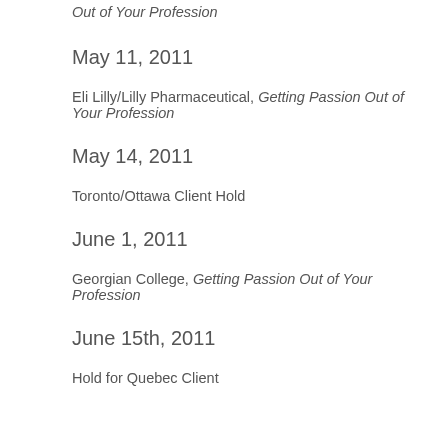Out of Your Profession
May 11, 2011
Eli Lilly/Lilly Pharmaceutical, Getting Passion Out of Your Profession
May 14, 2011
Toronto/Ottawa Client Hold
June 1, 2011
Georgian College, Getting Passion Out of Your Profession
June 15th, 2011
Hold for Quebec Client